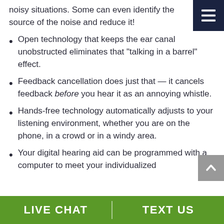noisy situations. Some can even identify the source of the noise and reduce it!
Open technology that keeps the ear canal unobstructed eliminates that “talking in a barrel” effect.
Feedback cancellation does just that — it cancels feedback before you hear it as an annoying whistle.
Hands-free technology automatically adjusts to your listening environment, whether you are on the phone, in a crowd or in a windy area.
Your digital hearing aid can be programmed with a computer to meet your individualized
LIVE CHAT   TEXT US